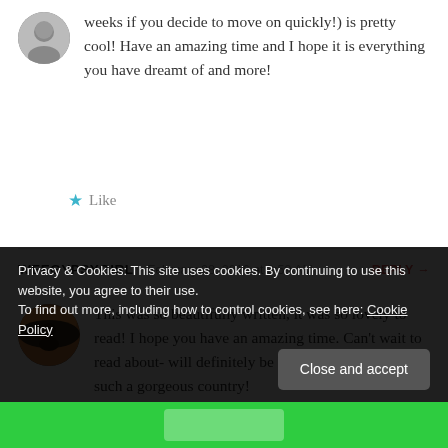…weeks if you decide to move on quickly!) is pretty cool! Have an amazing time and I hope it is everything you have dreamt of and more!
Like
WEEGYPSYGIRL  February 28, 2016 at 3:59 AM  REPLY →
This was so beautifully written, it was so lovely to read! I hope you have an amazing time. Can't wait to read about- will definitely be back! Iceland looks like such a gorgeous country!
Privacy & Cookies: This site uses cookies. By continuing to use this website, you agree to their use. To find out more, including how to control cookies, see here: Cookie Policy
Close and accept